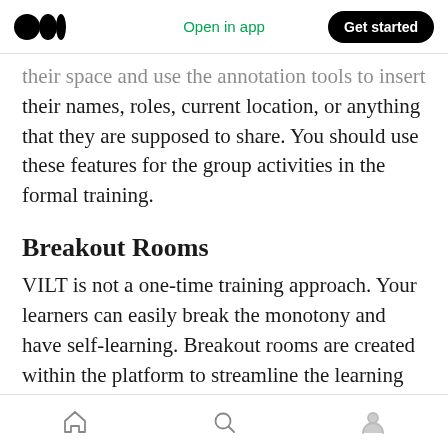Open in app | Get started
their space and use the annotation tools to insert their names, roles, current location, or anything that they are supposed to share. You should use these features for the group activities in the formal training.
Breakout Rooms
VILT is not a one-time training approach. Your learners can easily break the monotony and have self-learning. Breakout rooms are created within the platform to streamline the learning activities. The collaborative rooms allow your learners to think out of the box and implement their
Home | Search | Profile